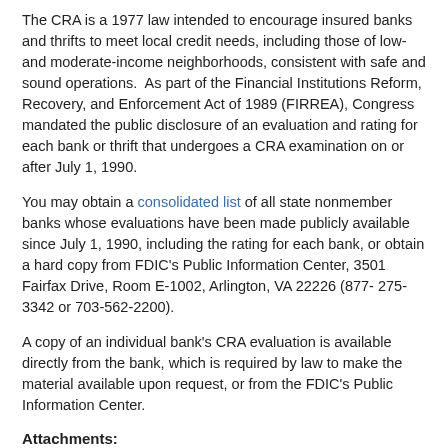The CRA is a 1977 law intended to encourage insured banks and thrifts to meet local credit needs, including those of low- and moderate-income neighborhoods, consistent with safe and sound operations. As part of the Financial Institutions Reform, Recovery, and Enforcement Act of 1989 (FIRREA), Congress mandated the public disclosure of an evaluation and rating for each bank or thrift that undergoes a CRA examination on or after July 1, 1990.
You may obtain a consolidated list of all state nonmember banks whose evaluations have been made publicly available since July 1, 1990, including the rating for each bank, or obtain a hard copy from FDIC's Public Information Center, 3501 Fairfax Drive, Room E-1002, Arlington, VA 22226 (877-275-3342 or 703-562-2200).
A copy of an individual bank's CRA evaluation is available directly from the bank, which is required by law to make the material available upon request, or from the FDIC's Public Information Center.
Attachments:
March 2022 List of Banks Examined for CRA Compliance
Monthly List of Banks Examined for CRA Compliance